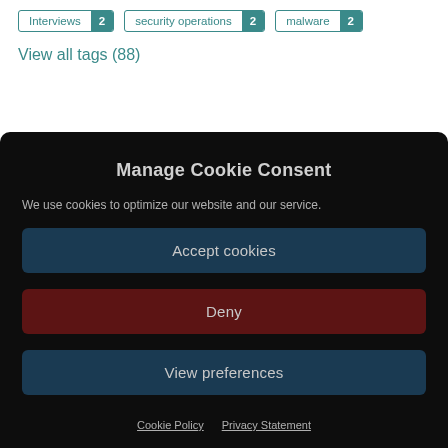Interviews 2
security operations 2
malware 2
View all tags (88)
Manage Cookie Consent
We use cookies to optimize our website and our service.
Accept cookies
Deny
View preferences
Cookie Policy   Privacy Statement